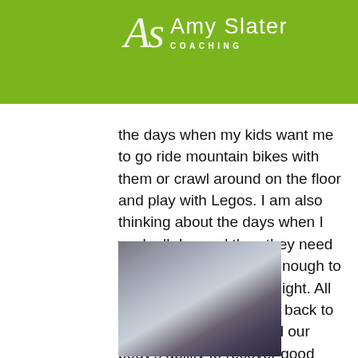Amy Slater Coaching
the days when my kids want me to go ride mountain bikes with them or crawl around on the floor and play with Legos. I am also thinking about the days when I work all day and then they need me to be strong and fit enough to manage their needs at night. All of these demands come back to our fitness as moms and our body's ability to recover good quality movement.
[Figure (photo): Blurred/obscured photograph, approximately square, showing dark and muted tones with blue and purple hues at the bottom.]